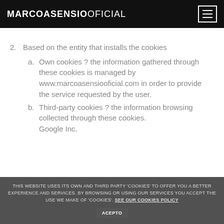MARCOASENSIOOFICIAL
2. Based on the entity that installs the cookies
a. Own cookies ? the information gathered through these cookies is managed by www.marcoasensiooficial.com in order to provide the service requested by the user.
b. Third-party cookies ? the information browsing collected through these cookies. Google Inc.
THIS WEBSITE USES ITS OWN AND THIRD PARTY 'COOKIES' TO OFFER YOU A BETTER EXPERIENCE AND SERVICES. BY BROWSING OR USING OUR SERVICES YOU ACCEPT THE USE WE MAKE OF 'COOKIES'. SEE OUR COOKIES POLICY ACEPTO